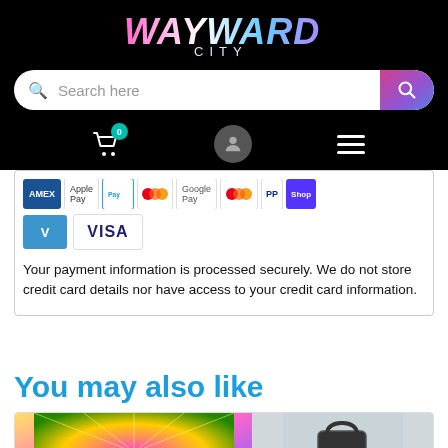[Figure (screenshot): Wayward City logo in colorful neon pink/blue text on black background]
[Figure (screenshot): Search bar with search icon on the left and gradient purple/pink search button on the right, on black background]
[Figure (screenshot): Navigation icons row: shopping cart with badge showing 0, user profile icon, hamburger menu]
[Figure (screenshot): Payment method logos row: various payment icons including Venmo and Visa]
Your payment information is processed securely. We do not store credit card details nor have access to your credit card information.
You may also like
[Figure (screenshot): Product images row: two product cards partially visible, one with colorful game box art with 6+ rating badge]